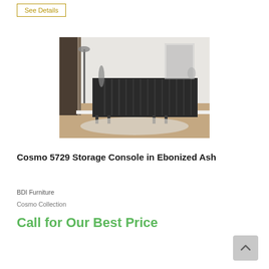See Details
[Figure (photo): A dark ebonized ash storage console with vertical slat detailing on the doors, set against a light interior with a floor lamp and decorative items on top.]
Cosmo 5729 Storage Console in Ebonized Ash
BDI Furniture
Cosmo Collection
Call for Our Best Price